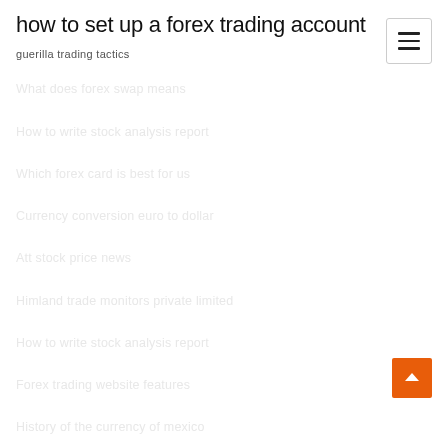how to set up a forex trading account
guerilla trading tactics
What does forex swap means
How to write stock analysis report
Which forex card is best for us
Currency conversion euro to dollar
Att stock price news
Himland trade monitors private limited
How to write stock analysis report
Forex trading website features
History of the currency of mexico